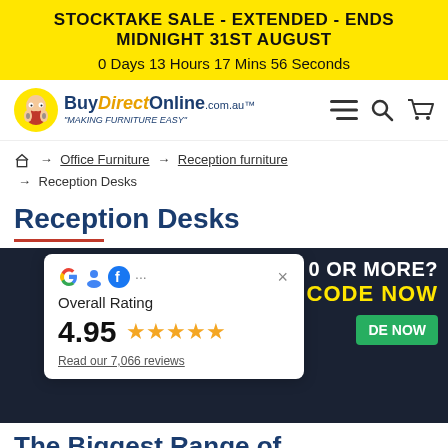STOCKTAKE SALE - EXTENDED - ENDS MIDNIGHT 31ST AUGUST
0 Days 13 Hours 17 Mins 56 Seconds
[Figure (logo): BuyDirectOnline.com.au logo with mascot character and tagline MAKING FURNITURE EASY]
🏠 → Office Furniture → Reception furniture → Reception Desks
Reception Desks
[Figure (infographic): Dark navy promotional banner partially obscured. Rating overlay card shows Google/GMB icons, Overall Rating 4.95 with 5 gold stars, Read our 7,066 reviews. Banner text shows '0 OR MORE?' and 'LK CODE NOW' with green GET CODE NOW button.]